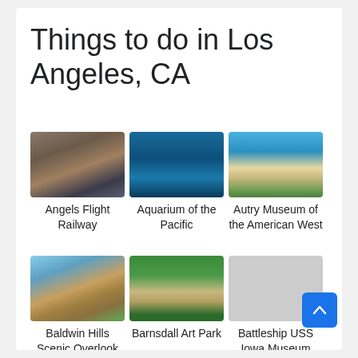Things to do in Los Angeles, CA
[Figure (photo): Angels Flight Railway - funicular railway with people]
Angels Flight Railway
[Figure (photo): Aquarium of the Pacific - underwater blue scene with fish]
Aquarium of the Pacific
[Figure (photo): Autry Museum of the American West - building with clock tower and blue sky]
Autry Museum of the American West
[Figure (photo): Baldwin Hills Scenic Overlook - aerial view of hills and city]
Baldwin Hills Scenic Overlook
[Figure (photo): Barnsdall Art Park - building surrounded by green lawn]
Barnsdall Art Park
[Figure (photo): Battleship USS Iowa Museum - battleship guns]
Battleship USS Iowa Museum